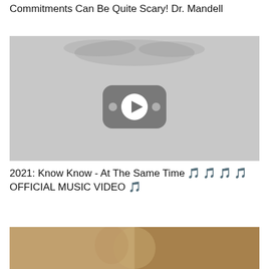Commitments Can Be Quite Scary! Dr. Mandell
[Figure (screenshot): YouTube video thumbnail placeholder showing a gray background with a YouTube-style play button in the center (rounded rectangle with play circle and side dots), and faint hand/blur shapes at the top.]
2021: Know Know - At The Same Time 🎵🎵🎵🎵 OFFICIAL MUSIC VIDEO 🎵
[Figure (photo): Bottom strip showing a partial photo of people, cropped at the bottom of the page.]